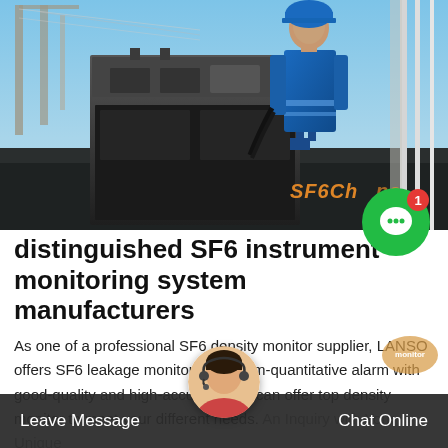[Figure (photo): Worker in blue hardhat and uniform inspecting electrical transformer/switchgear equipment at a power substation, with power lines and blue sky in background. SF6China watermark visible in orange text bottom right of photo.]
distinguished SF6 instrument monitoring system manufacturers
As one of a professional SF6 density monitor supplier, LANSO offers SF6 leakage monitoring system-quantitative alarm with good-quality and high-accuracy. We can offer top density monitor to meet your different needs. An Inquiry with Your Unique Select...